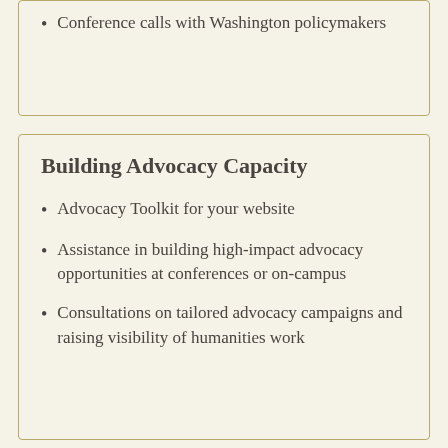Conference calls with Washington policymakers
Building Advocacy Capacity
Advocacy Toolkit for your website
Assistance in building high-impact advocacy opportunities at conferences or on-campus
Consultations on tailored advocacy campaigns and raising visibility of humanities work